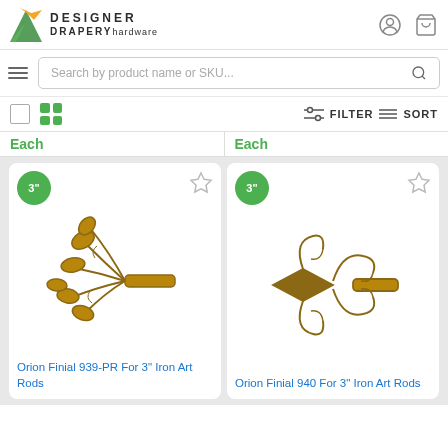[Figure (logo): Designer Drapery Hardware logo with green and yellow leaf icon]
Search by product name or SKU...
FILTER  SORT
Each
Each
[Figure (photo): Orion Finial 939-PR decorative iron art finial with leaf/floral motif in bronze/gold finish]
[Figure (photo): Orion Finial 940 decorative iron art finial with scroll and diamond motif in bronze/gold finish]
Orion Finial 939-PR For 3" Iron Art Rods
Orion Finial 940 For 3" Iron Art Rods